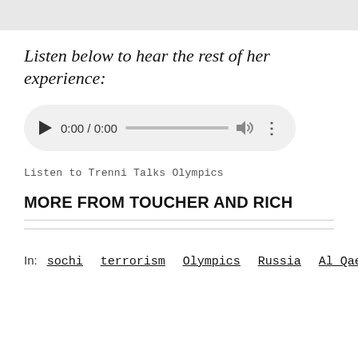Listen below to hear the rest of her experience:
[Figure (other): Audio player widget showing 0:00 / 0:00 with play button, progress bar, volume icon, and more options icon]
Listen to Trenni Talks Olympics
MORE FROM TOUCHER AND RICH
In: sochi  terrorism  Olympics  Russia  Al Qaeda